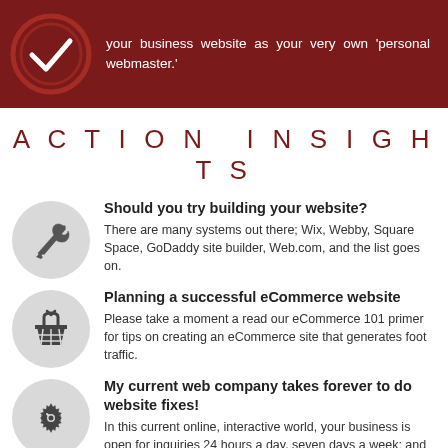your business website as your very own 'personal webmaster.'
ACTION INSIGHTS
Should you try building your website? There are many systems out there; Wix, Webby, Square Space, GoDaddy site builder, Web.com, and the list goes on.
Planning a successful eCommerce website. Please take a moment a read our eCommerce 101 primer for tips on creating an eCommerce site that generates foot traffic.
My current web company takes forever to do website fixes! In this current online, interactive world, your business is open for inquiries 24 hours a day, seven days a week; and